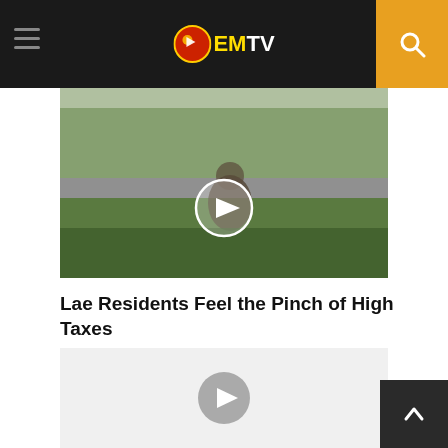EMTV
[Figure (screenshot): Video thumbnail showing a person sitting on grassy ground beside a road with tropical trees in the background. A white play button circle is centered on the image.]
Lae Residents Feel the Pinch of High Taxes
[Figure (screenshot): Second video thumbnail with light gray background and a gray play button circle centered on the image.]